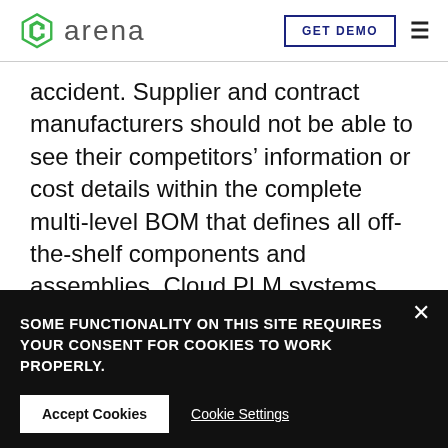arena | GET DEMO
accident. Supplier and contract manufacturers should not be able to see their competitors’ information or cost details within the complete multi-level BOM that defines all off-the-shelf components and assemblies. Cloud PLM systems provide flexible and powerful role-based privileges to ensure each
SOME FUNCTIONALITY ON THIS SITE REQUIRES YOUR CONSENT FOR COOKIES TO WORK PROPERLY.
Accept Cookies | Cookie Settings